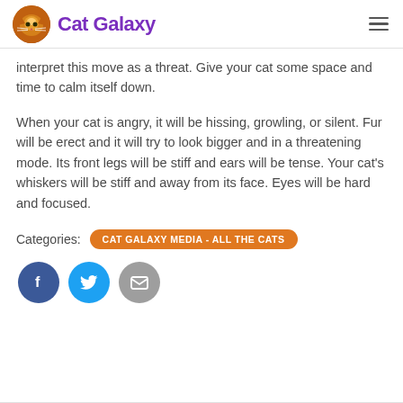Cat Galaxy
interpret this move as a threat. Give your cat some space and time to calm itself down.
When your cat is angry, it will be hissing, growling, or silent. Fur will be erect and it will try to look bigger and in a threatening mode. Its front legs will be stiff and ears will be tense. Your cat’s whiskers will be stiff and away from its face. Eyes will be hard and focused.
Categories: CAT GALAXY MEDIA - ALL THE CATS
[Figure (infographic): Social sharing buttons: Facebook (blue circle with 'f'), Twitter (light blue circle with bird icon), Email (gray circle with envelope icon)]